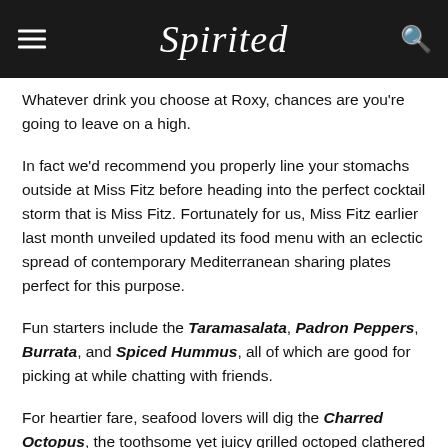Spirited
Whatever drink you choose at Roxy, chances are you're going to leave on a high.
In fact we'd recommend you properly line your stomachs outside at Miss Fitz before heading into the perfect cocktail storm that is Miss Fitz. Fortunately for us, Miss Fitz earlier last month unveiled updated its food menu with an eclectic spread of contemporary Mediterranean sharing plates perfect for this purpose.
Fun starters include the Taramasalata, Padron Peppers, Burrata, and Spiced Hummus, all of which are good for picking at while chatting with friends.
For heartier fare, seafood lovers will dig the Charred Octopus, the toothsome yet juicy grilled octoped clathered